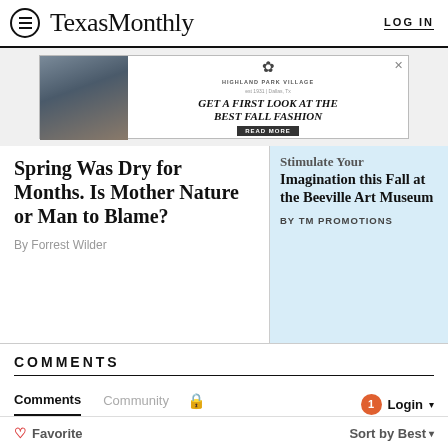Texas Monthly | LOG IN
[Figure (other): Advertisement banner for Highland Park Village: GET A FIRST LOOK AT THE BEST FALL FASHION - READ MORE]
Spring Was Dry for Months. Is Mother Nature or Man to Blame?
By Forrest Wilder
Stimulate Your Imagination this Fall at the Beeville Art Museum
BY TM PROMOTIONS
COMMENTS
Comments | Community | Login
♡ Favorite | Sort by Best